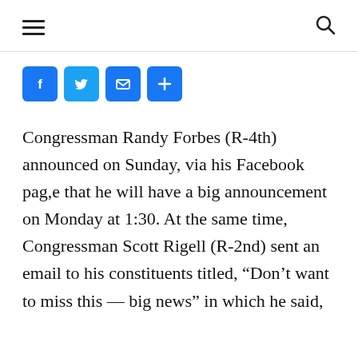[Figure (other): Social sharing buttons: Facebook (f), Twitter (bird), Email (envelope), Plus (+)]
Congressman Randy Forbes (R-4th) announced on Sunday, via his Facebook pag,e that he will have a big announcement on Monday at 1:30. At the same time, Congressman Scott Rigell (R-2nd) sent an email to his constituents titled, “Don’t want to miss this — big news” in which he said,